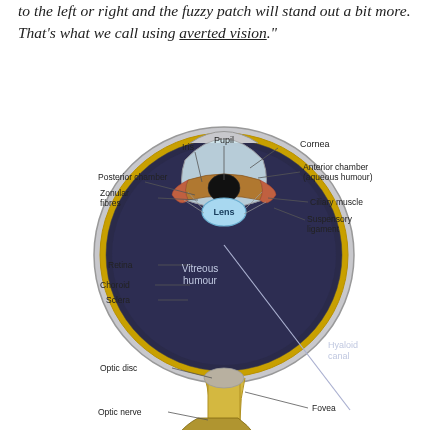to the left or right and the fuzzy patch will stand out a bit more. That's what we call using averted vision."
[Figure (illustration): Anatomical cross-section diagram of the human eye, labeling: Pupil, Iris, Cornea, Posterior chamber, Anterior chamber (aqueous humour), Zonular fibres, Lens, Ciliary muscle, Suspensory ligament, Retina, Choroid, Sclera, Vitreous humour, Hyaloid canal, Optic disc, Optic nerve, Fovea, Retinal blood vessels]